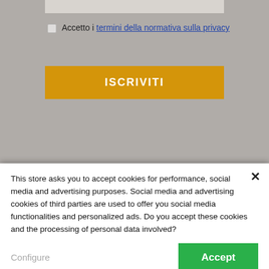Accetto i termini della normativa sulla privacy
ISCRIVITI
ABOUT US
CONTACT US
This store asks you to accept cookies for performance, social media and advertising purposes. Social media and advertising cookies of third parties are used to offer you social media functionalities and personalized ads. Do you accept these cookies and the processing of personal data involved?
Configure
Accept